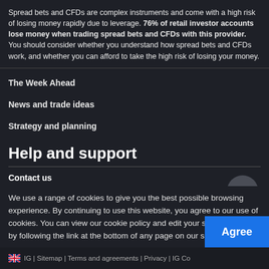Spread bets and CFDs are complex instruments and come with a high risk of losing money rapidly due to leverage. 76% of retail investor accounts lose money when trading spread bets and CFDs with this provider. You should consider whether you understand how spread bets and CFDs work, and whether you can afford to take the high risk of losing your money.
The Week Ahead
News and trade ideas
Strategy and planning
Help and support
Contact us
Interested in opening an account? Contact 0800 195 3100 or
newaccountenquiries.uk@ig.com
Want to check on your application's progress? Email
We use a range of cookies to give you the best possible browsing experience. By continuing to use this website, you agree to our use of cookies. You can view our cookie policy and edit your settings here, or by following the link at the bottom of any page on our site.
IG | Sitemap | Terms and agreements | Privacy | IG Co...